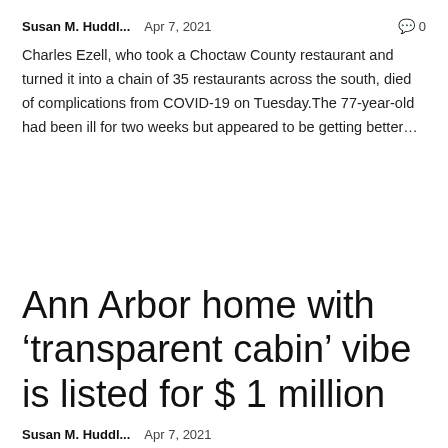Susan M. Huddl...   Apr 7, 2021   🗨 0
Charles Ezell, who took a Choctaw County restaurant and turned it into a chain of 35 restaurants across the south, died of complications from COVID-19 on Tuesday.The 77-year-old had been ill for two weeks but appeared to be getting better…
Ann Arbor home with 'transparent cabin' vibe is listed for $ 1 million
Susan M. Huddl...   Apr 7, 2021